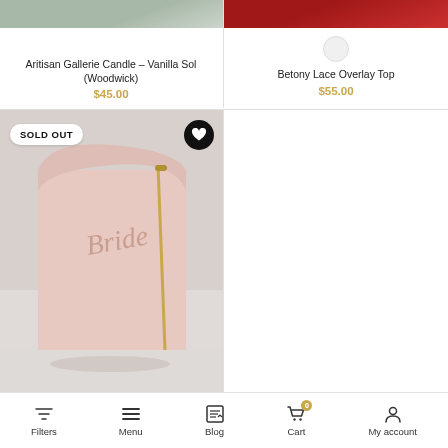[Figure (screenshot): Partial product image top-left (gray/green background)]
Aritisan Gallerie Candle – Vanilla Sol (Woodwick)
$45.00
[Figure (screenshot): Partial product image top-right (red fabric)]
Betony Lace Overlay Top
$55.00
[Figure (photo): Pink faux-leather makeup bag labeled 'Bride' with gold zipper, SOLD OUT badge]
[Figure (photo): Gold metallic makeup bag labeled 'Bridesmaid' with zipper, SOLD OUT badge]
Filters  Menu  Blog  Cart  My account